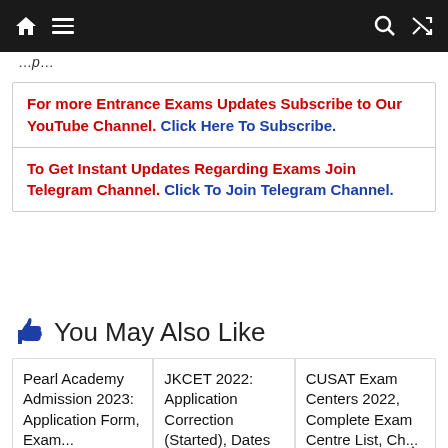Navigation bar with home, menu, search and shuffle icons
For more Entrance Exams Updates Subscribe to Our YouTube Channel. Click Here To Subscribe.
To Get Instant Updates Regarding Exams Join Telegram Channel. Click To Join Telegram Channel.
👍 You May Also Like
Pearl Academy Admission 2023: Application Form, Exam...
JKCET 2022: Application Correction (Started), Dates (Postponed)...
CUSAT Exam Centers 2022, Complete Exam Centre List, Check...